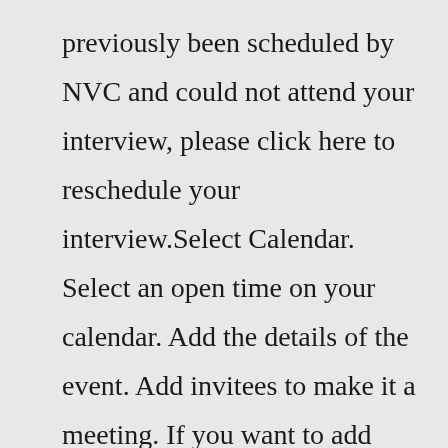previously been scheduled by NVC and could not attend your interview, please click here to reschedule your interview.Select Calendar. Select an open time on your calendar. Add the details of the event. Add invitees to make it a meeting. If you want to add more info, select More options. Use the calendar to find a free time. Green means everyone is available. You can also select a Suggested free time or use Scheduling